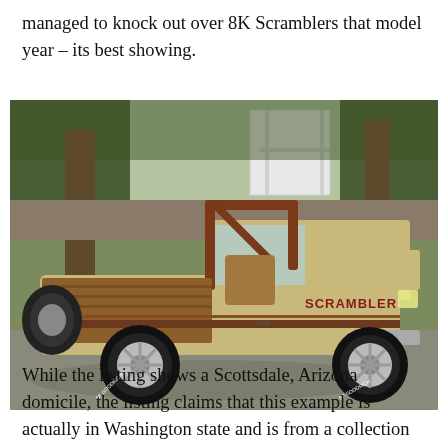managed to knock out over 8K Scramblers that model year – its best showing.
[Figure (photo): Side profile of a tan/beige Jeep Scrambler (CJ-8) with brown roll bar, wood-panel bed sides, chrome wheels with white-letter tires, open cab, parked on a driveway in front of trees and a white gate. 'SCRAMBLER' decal visible on the front fender.]
While the listing shows a Scottsdale, Arizona domicile, the listing claims that this example is actually in Washington state and is from a collection that is being